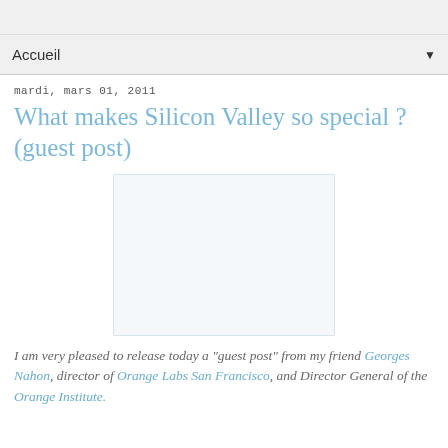Accueil ▼
mardi, mars 01, 2011
What makes Silicon Valley so special ? (guest post)
[Figure (photo): Blank/placeholder image rectangle]
I am very pleased to release today a "guest post" from my friend Georges Nahon, director of Orange Labs San Francisco, and Director General of the Orange Institute.